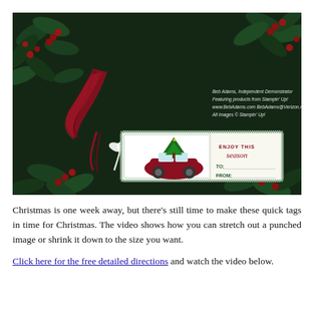[Figure (photo): A Christmas gift tag with a red car carrying a Christmas tree on its roof, decorated with holly and ribbon, set against a dark green holly background with red berries. The tag reads 'ENJOY THIS season' and has 'TO:' and 'FROM:' fields. Watermark text reads: 'Beb Adams, Independent Demonstrator / Featuring products from Stampin' Up! / www.BebAdams.com BebAdams@Verizon.net / All images © Stampin' Up!']
Christmas is one week away, but there's still time to make these quick tags in time for Christmas. The video shows how you can stretch out a punched image or shrink it down to the size you want.
Click here for the free detailed directions and watch the video below.